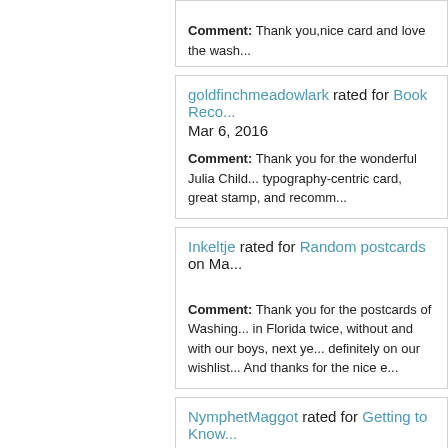Comment: Thank you,nice card and love the wash...
goldfinchmeadowlark rated for Book Reco... Mar 6, 2016
Comment: Thank you for the wonderful Julia Child... typography-centric card, great stamp, and recomm...
Inkeltje rated for Random postcards on Ma...
Comment: Thank you for the postcards of Washing... in Florida twice, without and with our boys, next ye... definitely on our wishlist... And thanks for the nice e...
NymphetMaggot rated for Getting to Know... 2016
Comment: Thanks! I enjoyed reading your answer...
jm3712 rated for Pocket Letter Theme on l...